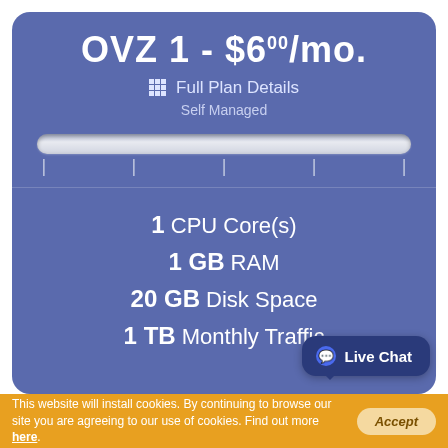OVZ 1 - $6.00/mo.
Full Plan Details
Self Managed
1 CPU Core(s)
1 GB RAM
20 GB Disk Space
1 TB Monthly Traffic
Live Chat
This website will install cookies. By continuing to browse our site you are agreeing to our use of cookies. Find out more here.